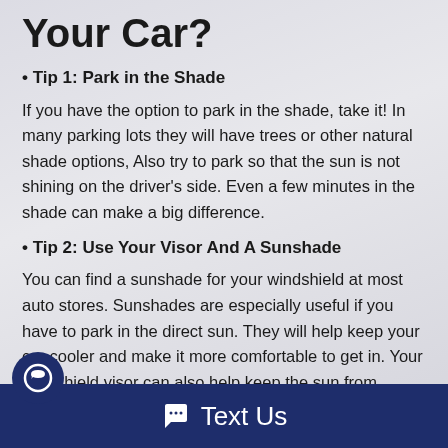Your Car?
• Tip 1: Park in the Shade
If you have the option to park in the shade, take it! In many parking lots they will have trees or other natural shade options, Also try to park so that the sun is not shining on the driver's side. Even a few minutes in the shade can make a big difference.
• Tip 2: Use Your Visor And A Sunshade
You can find a sunshade for your windshield at most auto stores. Sunshades are especially useful if you have to park in the direct sun. They will help keep your car cooler and make it more comfortable to get in. Your windshield visor can also help keep the sun from entering your car
Text Us